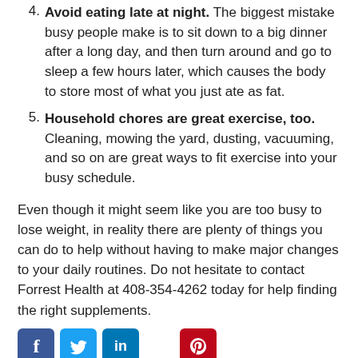4. Avoid eating late at night. The biggest mistake busy people make is to sit down to a big dinner after a long day, and then turn around and go to sleep a few hours later, which causes the body to store most of what you just ate as fat.
5. Household chores are great exercise, too. Cleaning, mowing the yard, dusting, vacuuming, and so on are great ways to fit exercise into your busy schedule.
Even though it might seem like you are too busy to lose weight, in reality there are plenty of things you can do to help without having to make major changes to your daily routines. Do not hesitate to contact Forrest Health at 408-354-4262 today for help finding the right supplements.
[Figure (infographic): Social media share buttons: Facebook, Twitter, LinkedIn, Pinterest]
This entry was posted in Focus and tagged Natural supplements, Nutritional supplements. Bookmark the